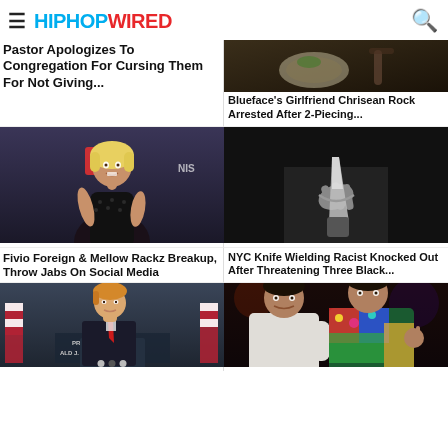HIPHOPWIRED
Pastor Apologizes To Congregation For Cursing Them For Not Giving...
Blueface's Girlfriend Chrisean Rock Arrested After 2-Piecing...
[Figure (photo): Woman with blonde hair in black outfit at event with BET and Nissan logos in background]
Fivio Foreign & Mellow Rackz Breakup, Throw Jabs On Social Media
[Figure (photo): Black and white photo of person holding a knife]
NYC Knife Wielding Racist Knocked Out After Threatening Three Black...
[Figure (photo): Donald Trump at podium with US flags and PRESIDENT ALD J. TRU sign]
[Figure (photo): Two rappers posing together at an event, one in colorful jacket]